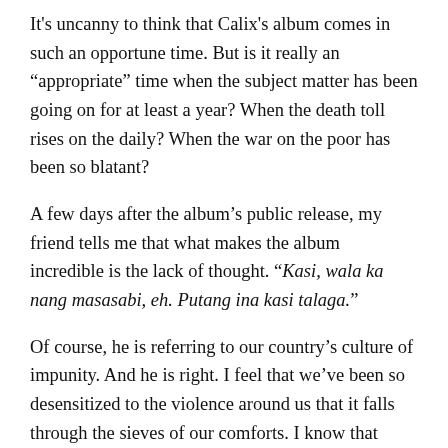It's uncanny to think that Calix's album comes in such an opportune time. But is it really an “appropriate” time when the subject matter has been going on for at least a year? When the death toll rises on the daily? When the war on the poor has been so blatant?
A few days after the album’s public release, my friend tells me that what makes the album incredible is the lack of thought. “Kasi, wala ka nang masasabi, eh. Putang ina kasi talaga.”
Of course, he is referring to our country’s culture of impunity. And he is right. I feel that we’ve been so desensitized to the violence around us that it falls through the sieves of our comforts. I know that there is deep anger and resentment inside of us towards our country’s culture of injustice, but when many of us